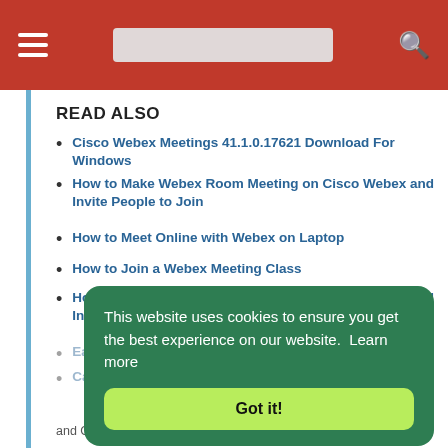Navigation bar with hamburger menu, search bar, and search icon
READ ALSO
Cisco Webex Meetings 41.1.0.17621 Download For Windows
How to Make Webex Room Meeting on Cisco Webex and Invite People to Join
How to Meet Online with Webex on Laptop
How to Join a Webex Meeting Class
How to Make Webex Room Meeting on Cisco Webex and Invite People to Join
Ea... (partially obscured)
Ca... (partially obscured)
and Google Home Hub
This website uses cookies to ensure you get the best experience on our website.  Learn more
Got it!